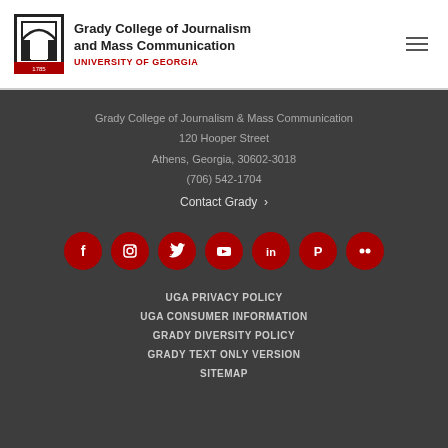[Figure (logo): Grady College of Journalism and Mass Communication, University of Georgia logo with arch icon]
Grady College of Journalism and Mass Communication
UNIVERSITY OF GEORGIA
Grady College of Journalism & Mass Communication
120 Hooper Street
Athens, Georgia, 30602-3018
(706) 542-1704
Contact Grady ›
[Figure (infographic): Social media icons: Facebook, Instagram, Twitter, YouTube, LinkedIn, Pinterest, Flickr — red circles with white icons]
UGA PRIVACY POLICY
UGA CONSUMER INFORMATION
GRADY DIVERSITY POLICY
GRADY TEXT ONLY VERSION
SITEMAP